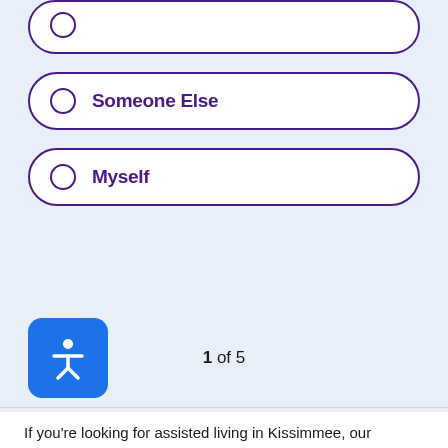Someone Else
Myself
1 of 5
If you're looking for assisted living in Kissimmee, our